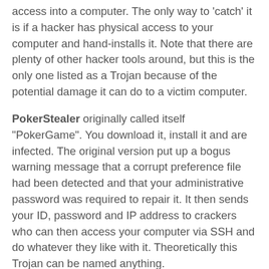access into a computer. The only way to 'catch' it is if a hacker has physical access to your computer and hand-installs it. Note that there are plenty of other hacker tools around, but this is the only one listed as a Trojan because of the potential damage it can do to a victim computer.
PokerStealer originally called itself "PokerGame". You download it, install it and are infected. The original version put up a bogus warning message that a corrupt preference file had been detected and that your administrative password was required to repair it. It then sends your ID, password and IP address to crackers who can then access your computer via SSH and do whatever they like with it. Theoretically this Trojan can be named anything.
iServices showed up earlier this year in pirated programs, buried inside their installer. The original A and B variants were buried in pirated versions of iWorks 09 and Photoshop CS4. You